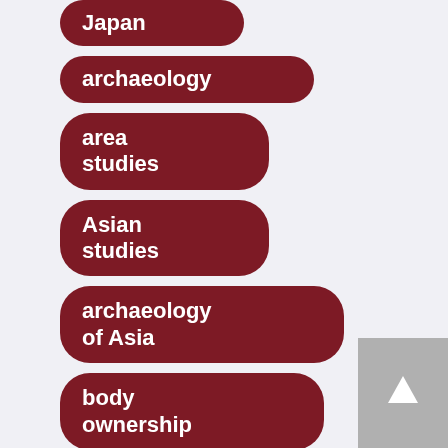Japan
archaeology
area studies
Asian studies
archaeology of Asia
body ownership
experiential ownership
self-as-
[Figure (other): Scroll-to-top button with upward arrow icon]